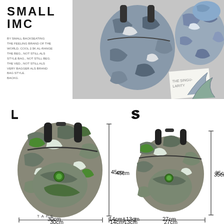SMALL IMC
Brand description text for SMALL IMC backpack collection (small print body copy)
[Figure (photo): Product photo showing camouflage backpacks (blue/grey camo pattern) arranged on a flat surface with a book, top-down view. Multiple sizes shown.]
[Figure (photo): Two camouflage backpacks (green/grey camo pattern) shown side by side with size dimensions indicated. L size: 45cm height, 30cm width, 14cm depth. S size: 35cm height, 27cm width, 13cm depth.]
L
S
45cm
35cm
30cm
14cm
27cm
13cm